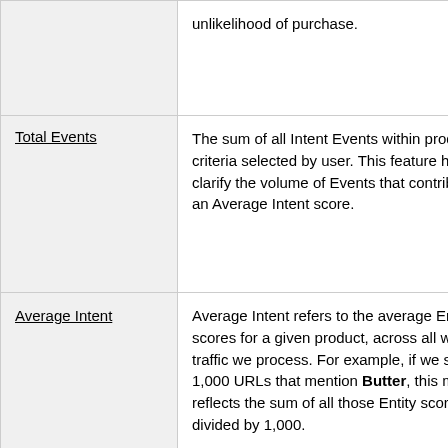| Term | Definition |
| --- | --- |
|  | unlikelihood of purchase. |
| Total Events | The sum of all Intent Events within product criteria selected by user. This feature helps clarify the volume of Events that contribute to an Average Intent score. |
| Average Intent | Average Intent refers to the average Entity scores for a given product, across all web traffic we process. For example, if we see 1,000 URLs that mention Butter, this metric reflects the sum of all those Entity scores divided by 1,000.

Average Intent = (Sum of all Entity |